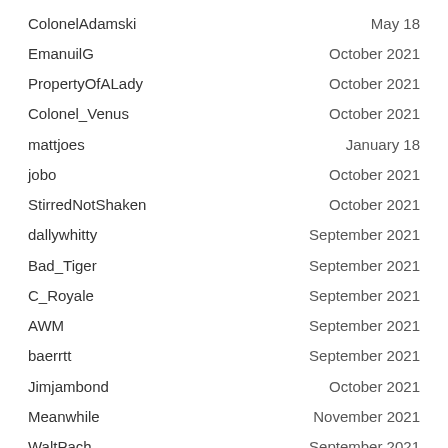ColonelAdamski   May 18
EmanuilG   October 2021
PropertyOfALady   October 2021
Colonel_Venus   October 2021
mattjoes   January 18
jobo   October 2021
StirredNotShaken   October 2021
dallywhitty   September 2021
Bad_Tiger   September 2021
C_Royale   September 2021
AWM   September 2021
baerrtt   September 2021
Jimjambond   October 2021
Meanwhile   November 2021
WaltPach   September 2021
Jamesc26   September 2021